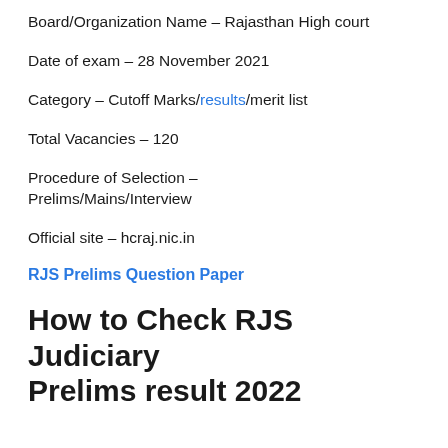Board/Organization Name – Rajasthan High court
Date of exam – 28 November 2021
Category – Cutoff Marks/results/merit list
Total Vacancies – 120
Procedure of Selection – Prelims/Mains/Interview
Official site – hcraj.nic.in
RJS Prelims Question Paper
How to Check RJS Judiciary Prelims result 2022